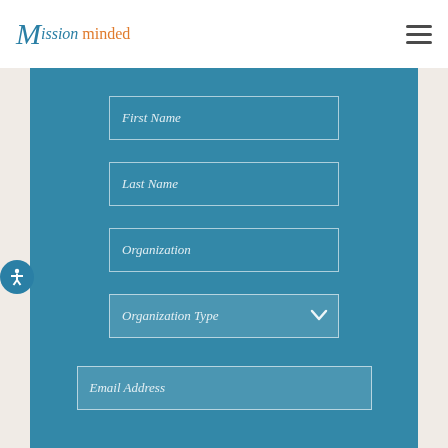Mission minded
[Figure (screenshot): Web form with teal background containing input fields: First Name, Last Name, Organization, Organization Type (dropdown), and Email Address (partially visible)]
First Name
Last Name
Organization
Organization Type
Email Address